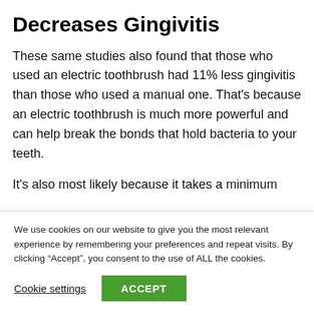Decreases Gingivitis
These same studies also found that those who used an electric toothbrush had 11% less gingivitis than those who used a manual one. That's because an electric toothbrush is much more powerful and can help break the bonds that hold bacteria to your teeth.
It's also most likely because it takes a minimum
We use cookies on our website to give you the most relevant experience by remembering your preferences and repeat visits. By clicking "Accept", you consent to the use of ALL the cookies.
Cookie settings | ACCEPT